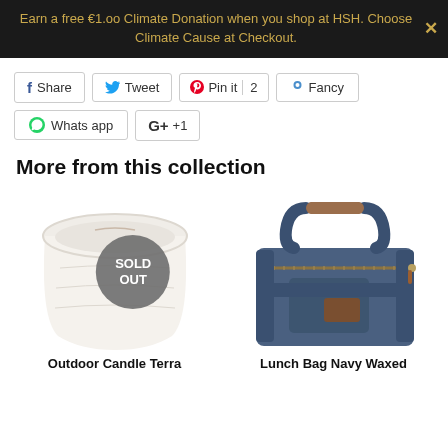Earn a free €1.00 Climate Donation when you shop at HSH. Choose Climate Cause at Checkout.
Share  Tweet  Pin it 2  Fancy  Whats app  +1
More from this collection
[Figure (photo): White outdoor candle in a ceramic pot with a SOLD OUT badge overlay]
[Figure (photo): Navy waxed canvas lunch bag with brown leather handles and zipper]
Outdoor Candle Terra
Lunch Bag Navy Waxed